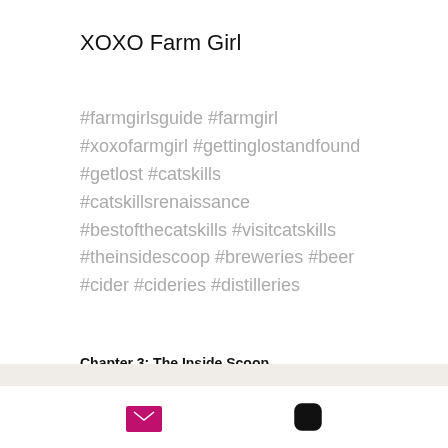XOXO Farm Girl
#farmgirlsguide #farmgirl #xoxofarmgirl #gettinglostandfound #getlost #catskills #catskillsrenaissance #bestofthecatskills #visitcatskills #theinsidescoop #breweries #beer #cider #cideries #distilleries
Chapter 3: The Inside Scoop
[Figure (infographic): Social sharing icons: Facebook, Twitter, LinkedIn, link/chain icon]
[Figure (infographic): Back to top button (grey square with up chevron)]
[Figure (infographic): Footer icons: email envelope (pink/magenta) and Instagram camera icon]